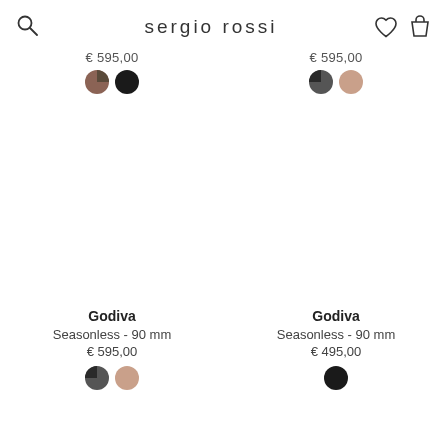sergio rossi
€ 595,00
[Figure (illustration): Two color swatches: dark grey/black half-circle and black circle]
€ 595,00
[Figure (illustration): Two color swatches: dark grey/black half-circle and nude/pink circle]
[Figure (photo): Product image area left column (blank/white)]
[Figure (photo): Product image area right column (blank/white)]
Godiva
Seasonless - 90 mm
€ 595,00
[Figure (illustration): Two color swatches: dark grey/black half-circle and nude/pink circle]
Godiva
Seasonless - 90 mm
€ 495,00
[Figure (illustration): One color swatch: black circle]